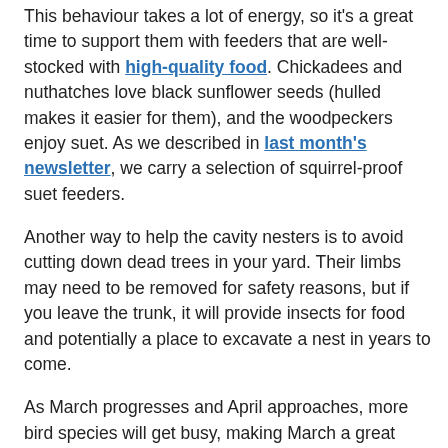This behaviour takes a lot of energy, so it's a great time to support them with feeders that are well-stocked with high-quality food. Chickadees and nuthatches love black sunflower seeds (hulled makes it easier for them), and the woodpeckers enjoy suet. As we described in last month's newsletter, we carry a selection of squirrel-proof suet feeders.
Another way to help the cavity nesters is to avoid cutting down dead trees in your yard. Their limbs may need to be removed for safety reasons, but if you leave the trunk, it will provide insects for food and potentially a place to excavate a nest in years to come.
As March progresses and April approaches, more bird species will get busy, making March a great time to get your feeders cleaned and filled and perhaps install a pole system and put up some bird houses.